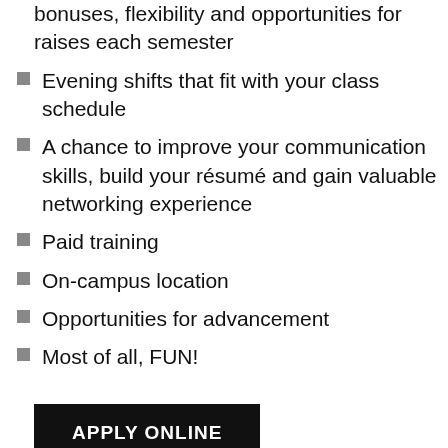bonuses, flexibility and opportunities for raises each semester
Evening shifts that fit with your class schedule
A chance to improve your communication skills, build your résumé and gain valuable networking experience
Paid training
On-campus location
Opportunities for advancement
Most of all, FUN!
APPLY ONLINE
Please note that your application requires a current résumé. Minimum qualifications include verbal and